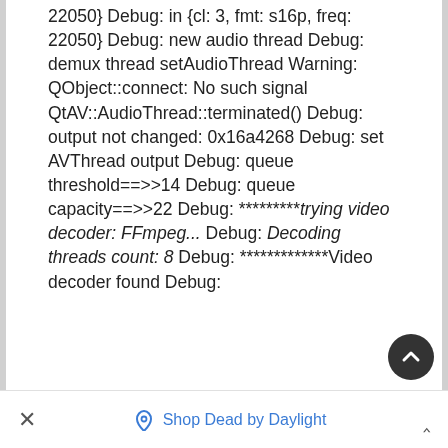Debug: out {cl: 3, fmt: fl, freq: 22050} Debug: in {cl: 3, fmt: s16p, freq: 22050} Debug: new audio thread Debug: demux thread setAudioThread Warning: QObject::connect: No such signal QtAV::AudioThread::terminated() Debug: output not changed: 0x16a4268 Debug: set AVThread output Debug: queue threshold==>>14 Debug: queue capacity==>>22 Debug: *********trying video decoder: FFmpeg... Debug: Decoding threads count: 8 Debug: *************Video decoder found Debug:
× Shop Dead by Daylight ^